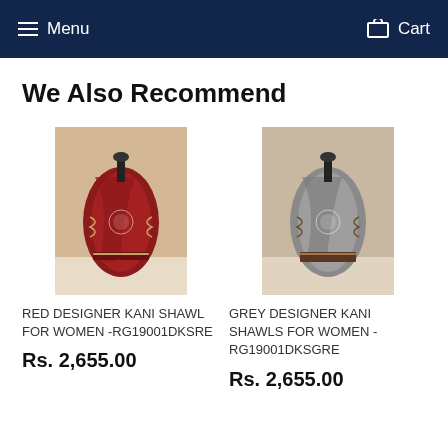Menu  Cart
We Also Recommend
[Figure (photo): Red designer Kani shawl displayed on a mannequin against a wooden background]
RED DESIGNER KANI SHAWL FOR WOMEN -RG19001DKSRE
Rs. 2,655.00
[Figure (photo): Grey designer Kani shawl displayed on a mannequin against a wooden background]
GREY DESIGNER KANI SHAWLS FOR WOMEN - RG19001DKSGRE
Rs. 2,655.00